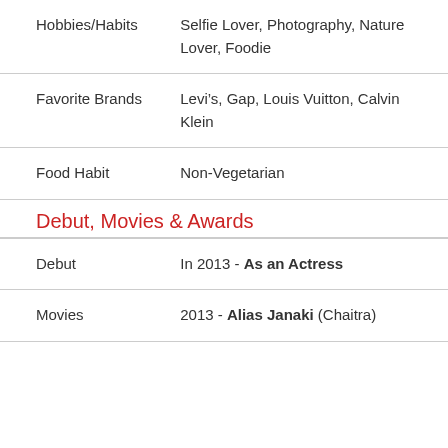| Hobbies/Habits | Selfie Lover, Photography, Nature Lover, Foodie |
| Favorite Brands | Levi’s, Gap, Louis Vuitton, Calvin Klein |
| Food Habit | Non-Vegetarian |
Debut, Movies & Awards
| Debut | In 2013 - As an Actress |
| Movies | 2013 - Alias Janaki (Chaitra) |